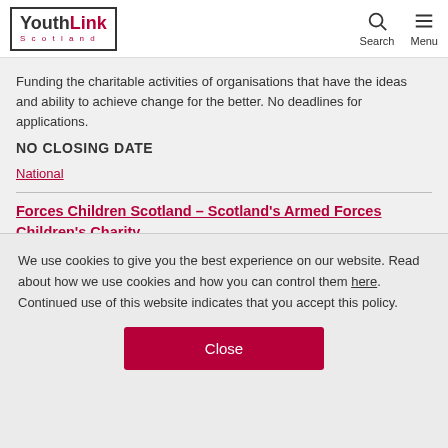YouthLink Scotland — Search | Menu
Funding the charitable activities of organisations that have the ideas and ability to achieve change for the better. No deadlines for applications.
NO CLOSING DATE
National
Forces Children Scotland – Scotland's Armed Forces Children's Charity
We use cookies to give you the best experience on our website. Read about how we use cookies and how you can control them here. Continued use of this website indicates that you accept this policy.
Close